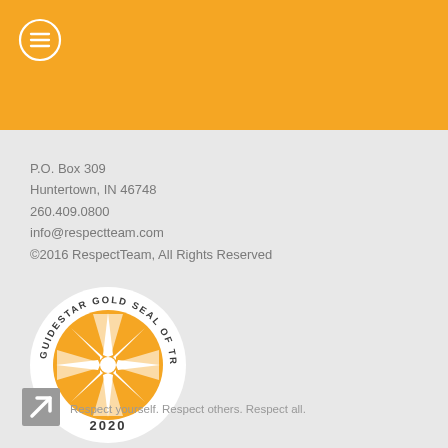[Figure (logo): Orange header banner with white circle menu icon containing three horizontal lines]
P.O. Box 309
Huntertown, IN 46748
260.409.0800
info@respectteam.com
©2016 RespectTeam, All Rights Reserved
[Figure (logo): GuideStar Gold Seal of Transparency 2020 badge - circular badge with star burst design in orange and white]
Respect yourself. Respect others. Respect all.